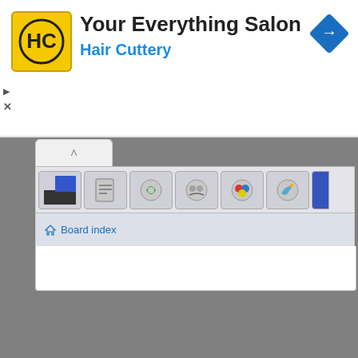[Figure (screenshot): Advertisement banner for Hair Cuttery salon with yellow HC logo, title 'Your Everything Salon', subtitle 'Hair Cuttery' in blue, and a blue navigation diamond icon in the top right. Small play and close icons on the left side.]
Board index
[Figure (screenshot): Browser UI showing a tab bar with up arrow, a toolbar strip with multiple extension/app icons, a breadcrumb navigation bar with 'Board index' link, and white content area below. Background is gray.]